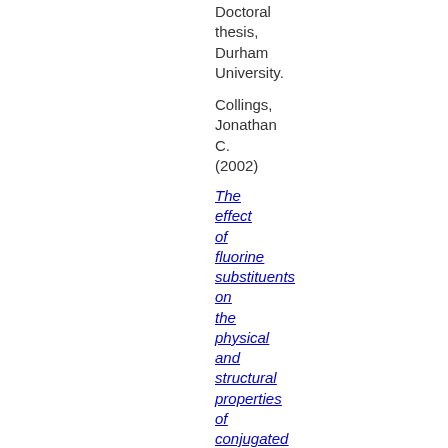Doctoral thesis, Durham University.
Collings, Jonathan C. (2002)
The effect of fluorine substituents on the physical and structural properties of conjugated